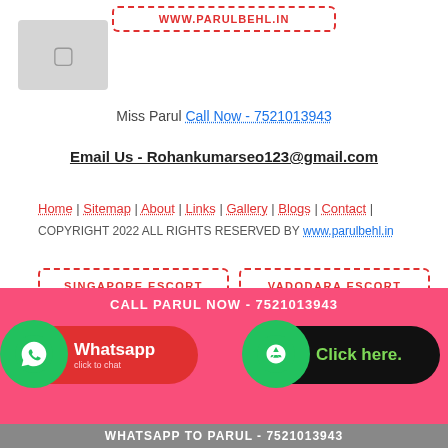WWW.PARULBEHL.IN
[Figure (photo): Placeholder image icon]
Miss Parul Call Now - 7521013943
Email Us - Rohankumarseo123@gmail.com
Home | Sitemap | About | Links | Gallery | Blogs | Contact | COPYRIGHT 2022 ALL RIGHTS RESERVED BY www.parulbehl.in
SINGAPORE ESCORT
VADODARA ESCORT
PATAN ESCORT
PALDI ESCORT
CALL PARUL NOW - 7521013943
Whatsapp click to chat
Click here.
WHATSAPP TO PARUL - 7521013943